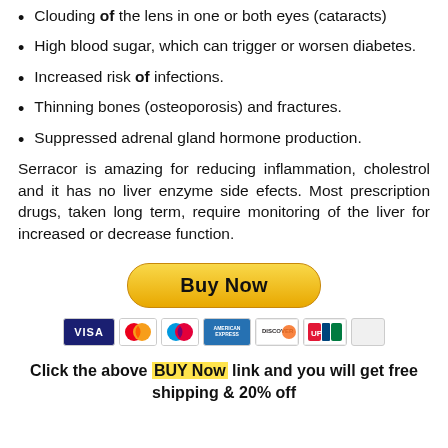Clouding of the lens in one or both eyes (cataracts)
High blood sugar, which can trigger or worsen diabetes.
Increased risk of infections.
Thinning bones (osteoporosis) and fractures.
Suppressed adrenal gland hormone production.
Serracor is amazing for reducing inflammation, cholestrol and it has no liver enzyme side efects. Most prescription drugs, taken long term, require monitoring of the liver for increased or decrease function.
[Figure (other): PayPal Buy Now button with payment card icons (Visa, MasterCard, Maestro, American Express, Discover, UnionPay)]
Click the above BUY Now link and you will get free shipping & 20% off